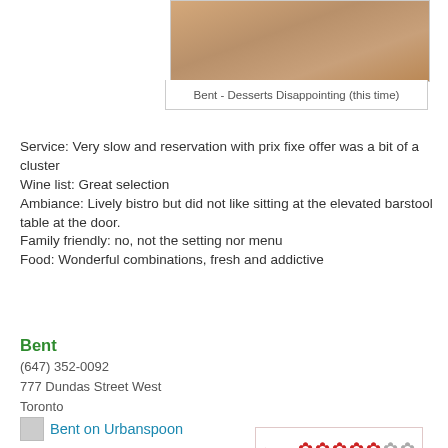[Figure (photo): Close-up photo of desserts at Bent restaurant, warm tan/brown tones]
Bent - Desserts Disappointing (this time)
Service: Very slow and reservation with prix fixe offer was a bit of a cluster
Wine list: Great selection
Ambiance: Lively bistro but did not like sitting at the elevated barstool table at the door.
Family friendly: no, not the setting nor menu
Food: Wonderful combinations, fresh and addictive
Bent
(647) 352-0092
777 Dundas Street West
Toronto
[Figure (other): Rating widget showing approximately 5 out of 7 red maple leaf icons filled, 2 gray]
Bent on Urbanspoon